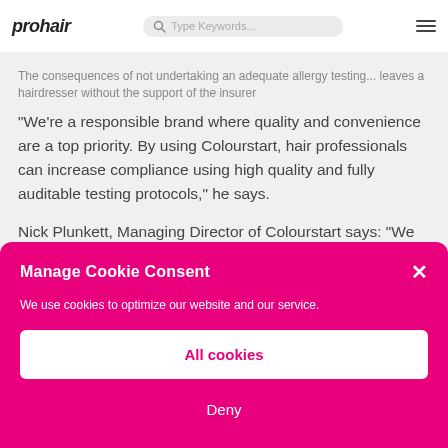prohair | Type Keywords...
The consequences of not undertaking an adequate allergy testing... leaves a hairdresser without the support of the insurer
“We’re a responsible brand where quality and convenience are a top priority. By using Colourstart, hair professionals can increase compliance using high quality and fully auditable testing protocols,” he says.
Nick Plunkett, Managing Director of Colourstart says: “We are
Manage Cookie Consent
We use cookies to optimize our website and our service.
All cookies
Deny